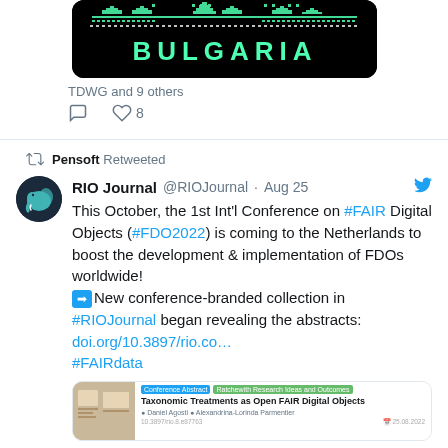[Figure (screenshot): Bulgaria conference image with pixel art style text on black background]
TDWG and 9 others
Comment and Like 8 action icons
Pensoft Retweeted
RIO Journal @RIOJournal · Aug 25
This October, the 1st Int'l Conference on #FAIR Digital Objects (#FDO2022) is coming to the Netherlands to boost the development & implementation of FDOs worldwide!
➡New conference-branded collection in #RIOJournal began revealing the abstracts: doi.org/10.3897/rio.co… #FAIRdata
[Figure (screenshot): Preview card showing RIO Journal article: Taxonomic Treatments as Open FAIR Digital Objects]